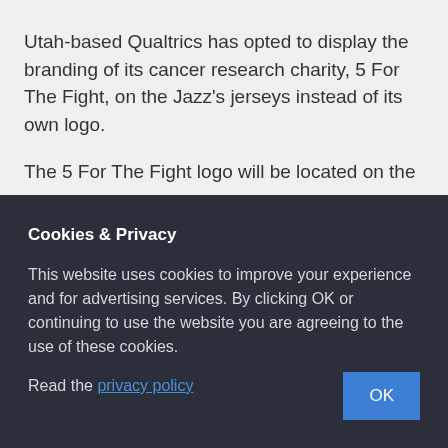Utah-based Qualtrics has opted to display the branding of its cancer research charity, 5 For The Fight, on the Jazz's jerseys instead of its own logo.
The 5 For The Fight logo will be located on the
Cookies & Privacy
This website uses cookies to improve your experience and for advertising services. By clicking OK or continuing to use the website you are agreeing to the use of these cookies.
Read the privacy policy